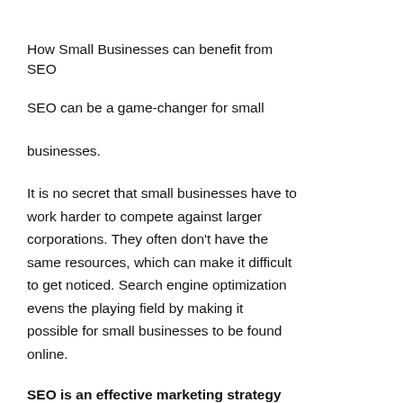How Small Businesses can benefit from SEO
SEO can be a game-changer for small businesses.
It is no secret that small businesses have to work harder to compete against larger corporations. They often don't have the same resources, which can make it difficult to get noticed. Search engine optimization evens the playing field by making it possible for small businesses to be found online.
SEO is an effective marketing strategy that helps small businesses in a number of